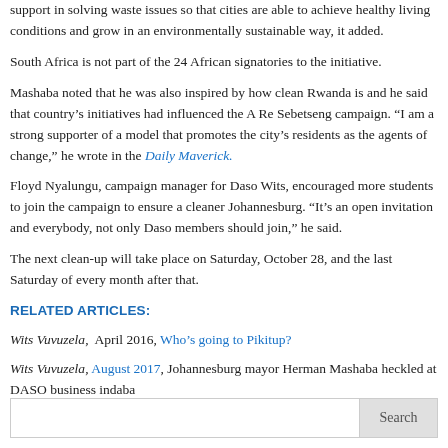support in solving waste issues so that cities are able to achieve healthy living conditions and grow in an environmentally sustainable way, it added.
South Africa is not part of the 24 African signatories to the initiative.
Mashaba noted that he was also inspired by how clean Rwanda is and he said that country's initiatives had influenced the A Re Sebetseng campaign. “I am a strong supporter of a model that promotes the city’s residents as the agents of change,” he wrote in the Daily Maverick.
Floyd Nyalungu, campaign manager for Daso Wits, encouraged more students to join the campaign to ensure a cleaner Johannesburg. “It’s an open invitation and everybody, not only Daso members should join,” he said.
The next clean-up will take place on Saturday, October 28, and the last Saturday of every month after that.
RELATED ARTICLES:
Wits Vuvuzela, April 2016, Who’s going to Pikitup?
Wits Vuvuzela, August 2017, Johannesburg mayor Herman Mashaba heckled at DASO business indaba